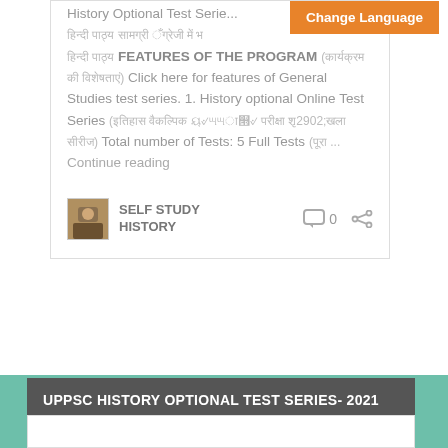History Optional Test Series ... [Hindi text] FEATURES OF THE PROGRAM ([Hindi text]) Click here for features of General Studies test series. 1. History optional Online Test Series ([Hindi text]) Total number of Tests: 5 Full Tests ([Hindi] ... Continue reading
SELF STUDY HISTORY
0
UPPSC HISTORY OPTIONAL TEST SERIES- 2021